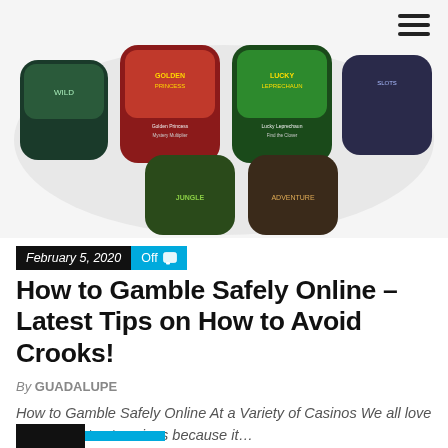[Figure (screenshot): Screenshot of an online casino app showing multiple slot game thumbnails including Golden Princess, Lucky Leprechaun, and other games displayed in a cloud/bubble shaped layout]
February 5, 2020  Off
How to Gamble Safely Online – Latest Tips on How to Avoid Crooks!
By GUADALUPE
How to Gamble Safely Online At a Variety of Casinos We all love to make bets at casinos because it…